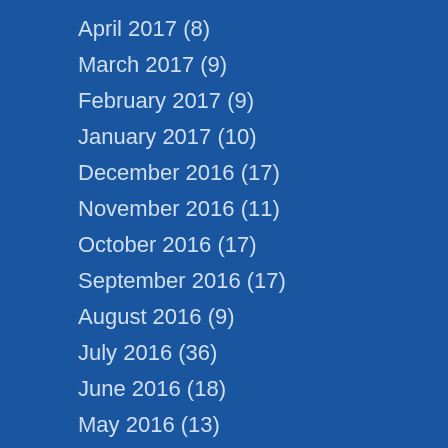April 2017 (8)
March 2017 (9)
February 2017 (9)
January 2017 (10)
December 2016 (17)
November 2016 (11)
October 2016 (17)
September 2016 (17)
August 2016 (9)
July 2016 (36)
June 2016 (18)
May 2016 (13)
April 2016 (26)
March 2016 (10)